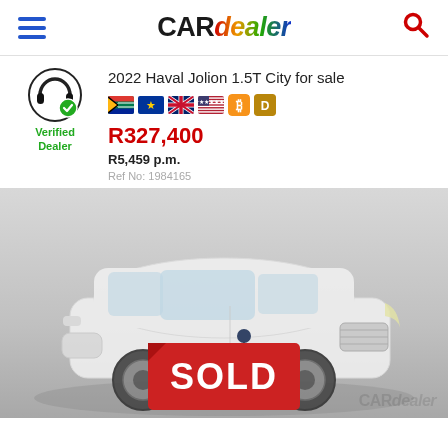CARdealer
[Figure (logo): CARdealer logo with colorful italic 'dealer' text]
Verified Dealer
2022 Haval Jolion 1.5T City for sale
R327,400
R5,459 p.m.
Ref No: 1984165
[Figure (photo): White 2022 Haval Jolion SUV with red SOLD sign, shown in a studio-style grey background with a CARdealer watermark]